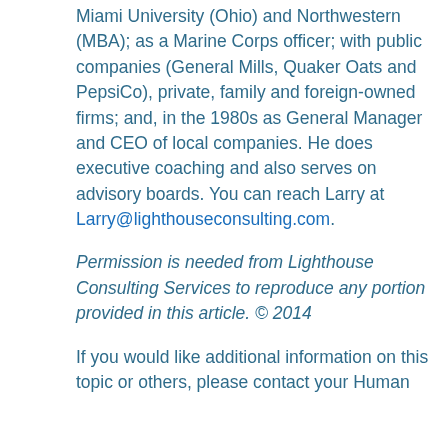Miami University (Ohio) and Northwestern (MBA); as a Marine Corps officer; with public companies (General Mills, Quaker Oats and PepsiCo), private, family and foreign-owned firms; and, in the 1980s as General Manager and CEO of local companies. He does executive coaching and also serves on advisory boards. You can reach Larry at Larry@lighthouseconsulting.com.
Permission is needed from Lighthouse Consulting Services to reproduce any portion provided in this article. © 2014
If you would like additional information on this topic or others, please contact your Human